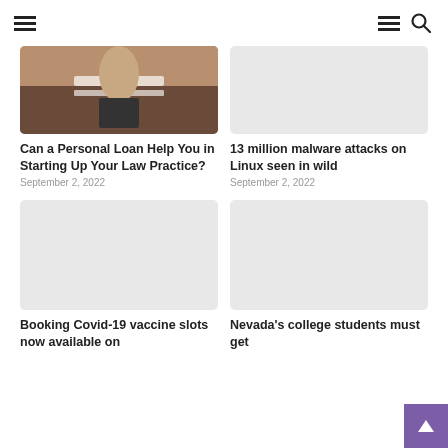Navigation header with hamburger menu and search icon
[Figure (photo): Person signing a document at a desk, with a laptop in the background]
Can a Personal Loan Help You in Starting Up Your Law Practice?
September 2, 2022
[Figure (photo): Gray placeholder image]
13 million malware attacks on Linux seen in wild
September 2, 2022
[Figure (photo): Gray placeholder image]
Booking Covid-19 vaccine slots now available on
[Figure (photo): Gray placeholder image]
Nevada's college students must get